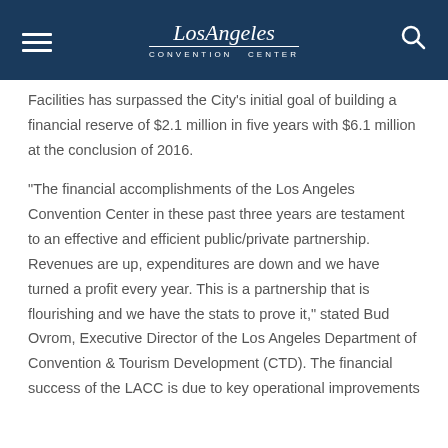Los Angeles Convention Center
Facilities has surpassed the City's initial goal of building a financial reserve of $2.1 million in five years with $6.1 million at the conclusion of 2016.
“The financial accomplishments of the Los Angeles Convention Center in these past three years are testament to an effective and efficient public/private partnership. Revenues are up, expenditures are down and we have turned a profit every year. This is a partnership that is flourishing and we have the stats to prove it,” stated Bud Ovrom, Executive Director of the Los Angeles Department of Convention & Tourism Development (CTD). The financial success of the LACC is due to key operational improvements